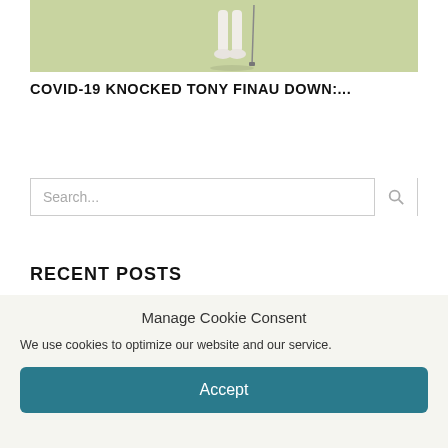[Figure (photo): Partial view of a golfer's legs and feet in white clothing standing on a green golf course, with a golf club visible.]
COVID-19 KNOCKED TONY FINAU DOWN:...
Search...
RECENT POSTS
Manage Cookie Consent
We use cookies to optimize our website and our service.
Accept